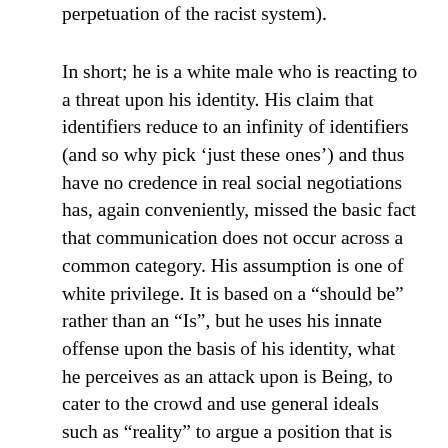perpetuation of the racist system).
In short; he is a white male who is reacting to a threat upon his identity. His claim that identifiers reduce to an infinity of identifiers (and so why pick ‘just these ones’) and thus have no credence in real social negotiations has, again conveniently, missed the basic fact that communication does not occur across a common category. His assumption is one of white privilege. It is based on a “should be” rather than an “Is”, but he uses his innate offense upon the basis of his identity, what he perceives as an attack upon is Being, to cater to the crowd and use general ideals such as “reality” to argue a position that is common to everyone, as if every one is a equal human being. This is called the argument from the political state;